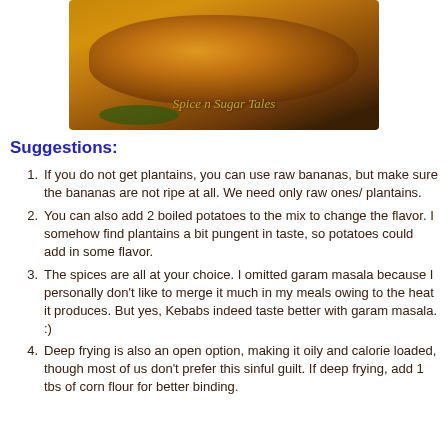[Figure (photo): A close-up photo of a fried/baked kebab or plantain patty with a golden-brown crust and green herb garnish, with a watermark reading 'Spice n Sugar Tales']
Suggestions:
If you do not get plantains, you can use raw bananas, but make sure the bananas are not ripe at all. We need only raw ones/ plantains.
You can also add 2 boiled potatoes to the mix to change the flavor. I somehow find plantains a bit pungent in taste, so potatoes could add in some flavor.
The spices are all at your choice. I omitted garam masala because I personally don't like to merge it much in my meals owing to the heat it produces. But yes, Kebabs indeed taste better with garam masala. :)
Deep frying is also an open option, making it oily and calorie loaded, though most of us don't prefer this sinful guilt. If deep frying, add 1 tbs of corn flour for better binding.